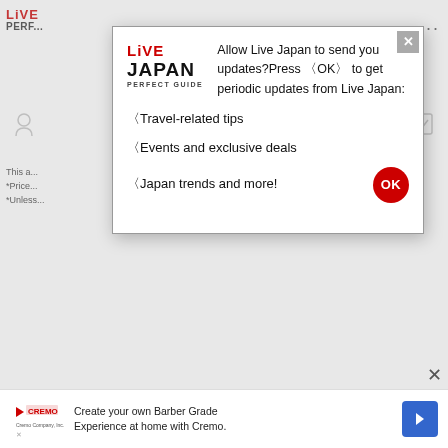[Figure (screenshot): Live Japan Perfect Guide website header with logo and navigation dots]
Allow Live Japan to send you updates?Press ‹OK› to get periodic updates from Live Japan:
‹Travel-related tips
‹Events and exclusive deals
‹Japan trends and more!
This a...
*Price...
*Unless...
[Figure (screenshot): Cremo advertisement banner: Create your own Barber Grade Experience at home with Cremo.]